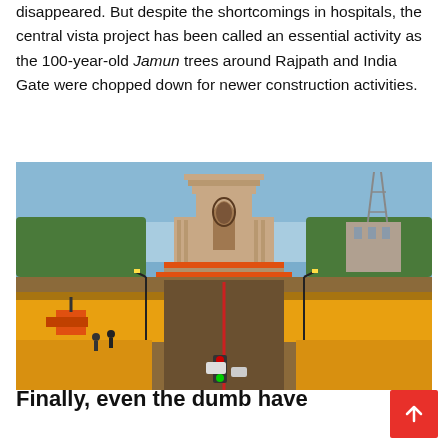disappeared. But despite the shortcomings in hospitals, the central vista project has been called an essential activity as the 100-year-old Jamun trees around Rajpath and India Gate were chopped down for newer construction activities.
[Figure (photo): Photograph of India Gate in New Delhi with construction activity and yellow barriers along Rajpath (Central Vista Avenue). Excavated earth and construction machinery visible in the foreground, with the iconic sandstone arch monument in the background against a clear blue sky.]
Finally, even the dumb have